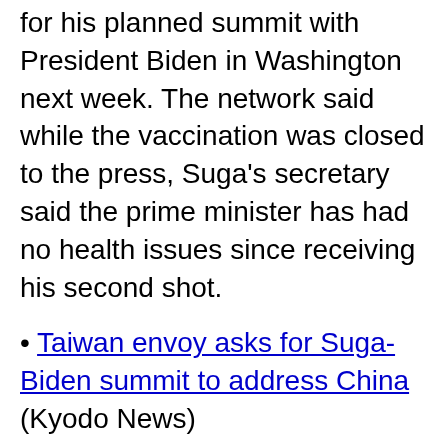for his planned summit with President Biden in Washington next week. The network said while the vaccination was closed to the press, Suga's secretary said the prime minister has had no health issues since receiving his second shot.
Taiwan envoy asks for Suga-Biden summit to address China (Kyodo News)
Suga aims for joint call with Biden to China on climate change (Jiji Press)
In competition with archrival China, U.S. has great expectations for Japan (Asahi)
U.S. and Japan plan 'Belt and